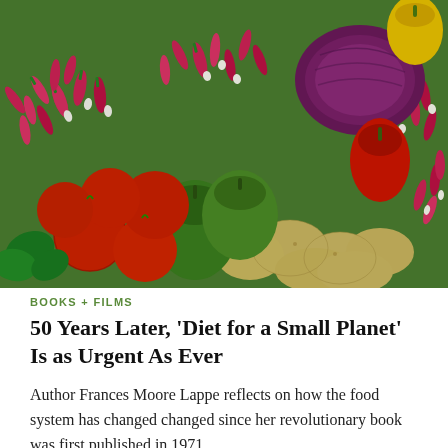[Figure (photo): A colorful overhead photograph of a large assortment of fresh vegetables including tomatoes, green bell peppers, radishes, potatoes, red peppers, purple cabbage, and other produce arranged together.]
BOOKS + FILMS
50 Years Later, 'Diet for a Small Planet' Is as Urgent As Ever
Author Frances Moore Lappe reflects on how the food system has changed changed since her revolutionary book was first published in 1971.